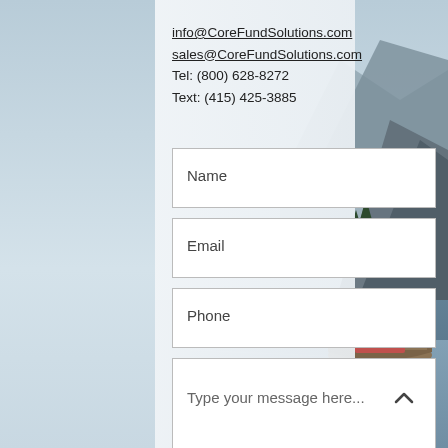[Figure (photo): Mountain lake landscape background with a wooden boat, mountains and water reflection visible on the right side.]
info@CoreFundSolutions.com
sales@CoreFundSolutions.com
Tel:  (800) 628-8272
Text: (415) 425-3885
Name
Email
Phone
Type your message here...
Submit